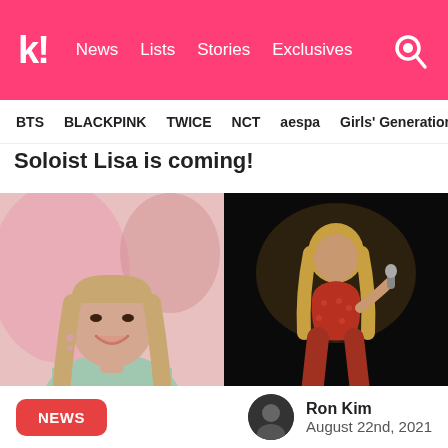k! News Lists Stories Exclusives
BTS  BLACKPINK  TWICE  NCT  aespa  Girls' Generation
Soloist Lisa is coming!
[Figure (photo): Lisa (BLACKPINK member) smiling, wearing a mint/sage green t-shirt with heart cutout, long straight hair, pink blurred background]
[Figure (photo): Lisa performing on stage in a red outfit, dark background, holding a microphone, blurry artistic photo]
NEWS
Ron Kim
August 22nd, 2021